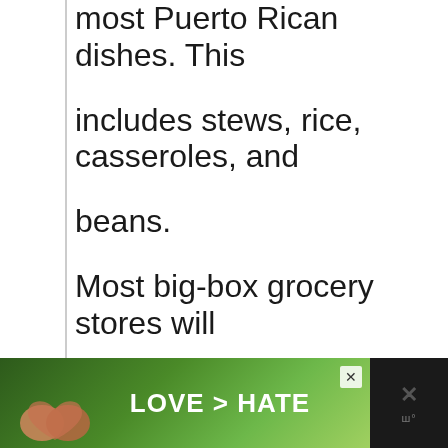Rican seasonings that show up in most Puerto Rican dishes. This includes stews, rice, casseroles, and beans.

Most big-box grocery stores will carry these seasonings alongside your traditional seasonings and spices (salt, pepper, chili powder).
[Figure (infographic): Advertisement banner with dark background. Shows two hands forming a heart shape with green foliage background. Text reads 'LOVE > HATE' in bold white letters. Has a close (X) button and an X icon with logo on the right side.]